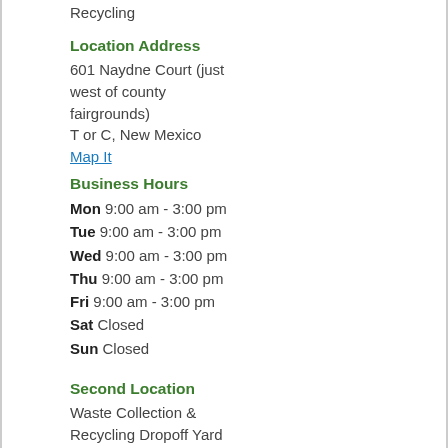Recycling
Location Address
601 Naydne Court (just west of county fairgrounds)
T or C, New Mexico
Map It
Business Hours
Mon 9:00 am - 3:00 pm
Tue 9:00 am - 3:00 pm
Wed 9:00 am - 3:00 pm
Thu 9:00 am - 3:00 pm
Fri 9:00 am - 3:00 pm
Sat Closed
Sun Closed
Second Location
Waste Collection &
Recycling Dropoff Yard